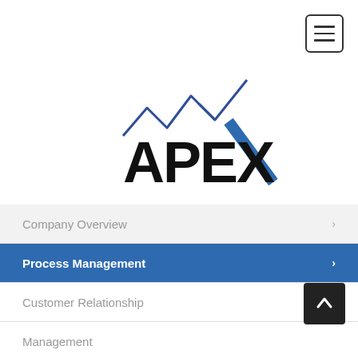[Figure (logo): APEX company logo with stylized mountain/chevron marks in blue above bold black APEX text with a diagonal blue slash through the X]
Company Overview
Process Management
Customer Relationship
Management
Development & Integration